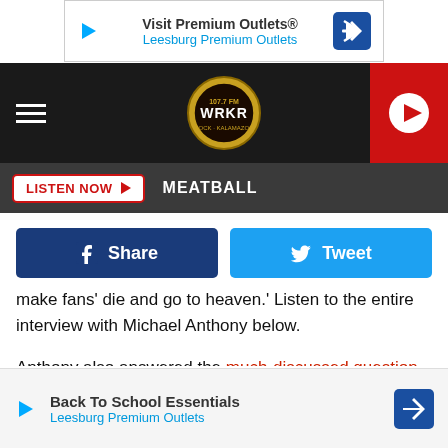[Figure (screenshot): Advertisement banner: Visit Premium Outlets® / Leesburg Premium Outlets with navigation icon]
[Figure (screenshot): WRKR 107.7 FM radio station navigation bar with hamburger menu, logo, and play button]
[Figure (screenshot): Listen Now button bar with MEATBALL station label]
[Figure (screenshot): Facebook Share and Twitter Tweet social sharing buttons]
make fans 'die and go to heaven.' Listen to the entire interview with Michael Anthony below.
Anthony also answered the much-discussed question of whether Roth had donated a cool $10,000 to the fundraising team honoring his infant grandson who passed away.
Shortly after his grandson Rex died of heart disease at just 15 day[s old, Anthony posted to his Facebook page that] he was jo[ining a fundraising effort for] heart [research].
[Figure (screenshot): Advertisement banner: Back To School Essentials / Leesburg Premium Outlets with navigation icon]